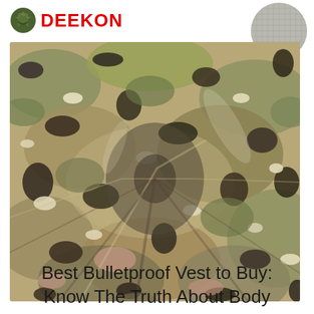[Figure (logo): DEEKON brand logo with red text and green military emblem]
[Figure (photo): Close-up of multicam camouflage fabric with green, brown, tan, and dark purple/black pattern, fabric gathered/bunched in center]
[Figure (photo): Small circular inset showing gray/silver fabric texture]
Best Bulletproof Vest to Buy: Know The Truth About Body